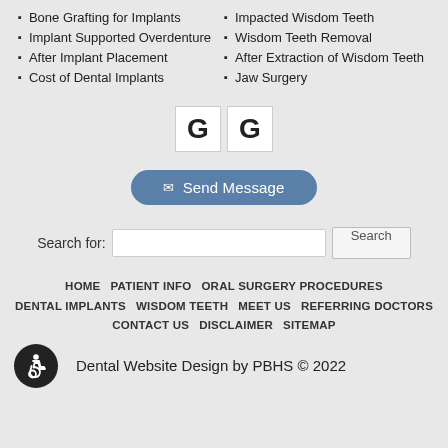Bone Grafting for Implants
Implant Supported Overdenture
After Implant Placement
Cost of Dental Implants
Impacted Wisdom Teeth
Wisdom Teeth Removal
After Extraction of Wisdom Teeth
Jaw Surgery
[Figure (logo): Two Google 'G' logo icons in white boxes with border]
[Figure (other): Send Message button with envelope icon, blue rounded pill shape]
Search for: [input] Search
HOME  PATIENT INFO  ORAL SURGERY PROCEDURES  DENTAL IMPLANTS  WISDOM TEETH  MEET US  REFERRING DOCTORS  CONTACT US  DISCLAIMER  SITEMAP
Dental Website Design by PBHS © 2022